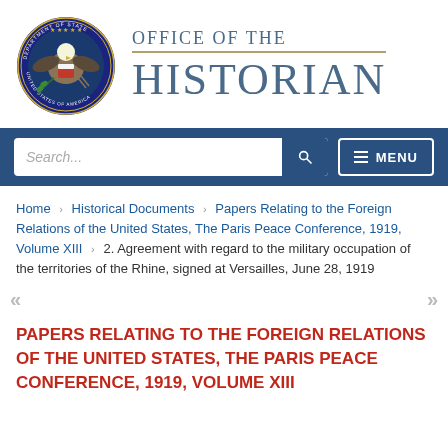[Figure (logo): US Department of State seal and Office of the Historian wordmark]
[Figure (screenshot): Navigation bar with search input and menu button]
Home › Historical Documents › Papers Relating to the Foreign Relations of the United States, The Paris Peace Conference, 1919, Volume XIII › 2. Agreement with regard to the military occupation of the territories of the Rhine, signed at Versailles, June 28, 1919
PAPERS RELATING TO THE FOREIGN RELATIONS OF THE UNITED STATES, THE PARIS PEACE CONFERENCE, 1919, VOLUME XIII